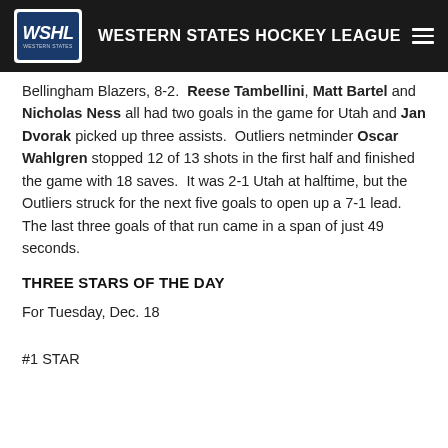WESTERN STATES HOCKEY LEAGUE
Bellingham Blazers, 8-2.  Reese Tambellini, Matt Bartel and Nicholas Ness all had two goals in the game for Utah and Jan Dvorak picked up three assists.  Outliers netminder Oscar Wahlgren stopped 12 of 13 shots in the first half and finished the game with 18 saves.  It was 2-1 Utah at halftime, but the Outliers struck for the next five goals to open up a 7-1 lead.  The last three goals of that run came in a span of just 49 seconds.
THREE STARS OF THE DAY
For Tuesday, Dec. 18
#1 STAR